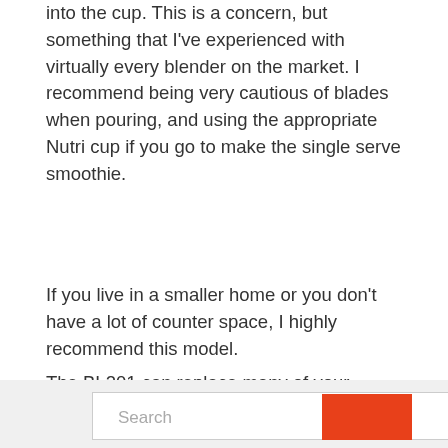into the cup. This is a concern, but something that I've experienced with virtually every blender on the market. I recommend being very cautious of blades when pouring, and using the appropriate Nutri cup if you go to make the single serve smoothie.
If you live in a smaller home or you don't have a lot of counter space, I highly recommend this model.
The BL201 can replace many of your appliances in the kitchen, and it does an acceptable job as a replacement. It's not as powerful as separate appliances, but it is an all-in-one solution that is a must for apartments or smaller kitchens.